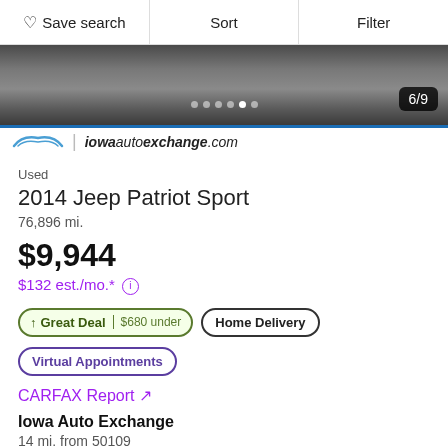♡ Save search  |  Sort  |  Filter
[Figure (photo): Car listing image showing vehicle underside/wheel area, with dealer watermark showing Iowa Auto Exchange logo and website 'iowautoexchange.com'. Image counter badge shows 6/9.]
Used
2014 Jeep Patriot Sport
76,896 mi.
$9,944
$132 est./mo.*
↑ Great Deal | $680 under
Home Delivery
Virtual Appointments
CARFAX Report ↗
Iowa Auto Exchange
14 mi. from 50109